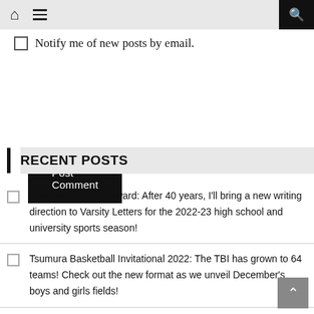Home / Menu / Search
Notify me of new posts by email.
Post Comment
RECENT POSTS
A message from Howard: After 40 years, I'll bring a new writing direction to Varsity Letters for the 2022-23 high school and university sports season!
Tsumura Basketball Invitational 2022: The TBI has grown to 64 teams! Check out the new format as we unveil December's boys and girls fields!